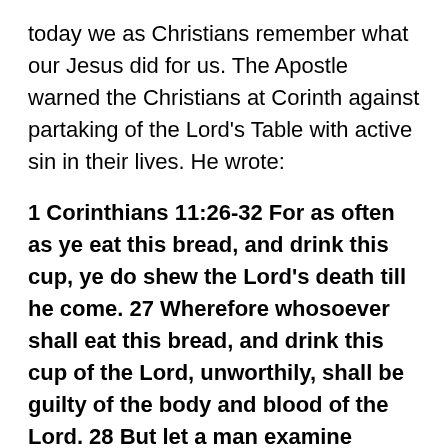today we as Christians remember what our Jesus did for us. The Apostle warned the Christians at Corinth against partaking of the Lord's Table with active sin in their lives. He wrote:
1 Corinthians 11:26-32 For as often as ye eat this bread, and drink this cup, ye do shew the Lord's death till he come. 27 Wherefore whosoever shall eat this bread, and drink this cup of the Lord, unworthily, shall be guilty of the body and blood of the Lord. 28 But let a man examine himself, and so let him eat of that bread, and drink of that cup. 29 For he that eateth and drinketh unworthily, eateth and drinketh damnation to himself, not discerning the Lord's body. 30 For this cause many are weak and sickly among you, and many sleep. 31 For if we would judge ourselves, we